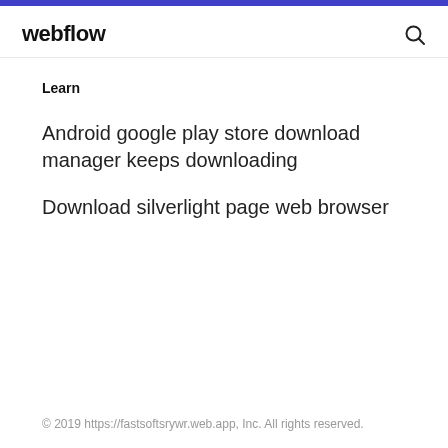webflow
Learn
Android google play store download manager keeps downloading
Download silverlight page web browser
© 2019 https://fastsoftsrywr.web.app, Inc. All rights reserved.